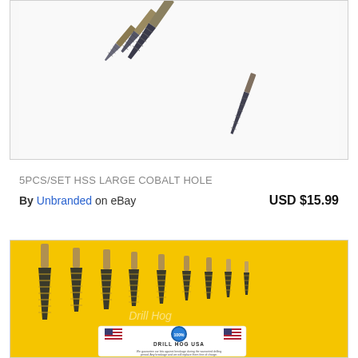[Figure (photo): Top portion of a product photo showing HSS cobalt step drill bits arranged on a white background, partially cropped at the top of the page.]
5PCS/SET HSS LARGE COBALT HOLE
By Unbranded on eBay  USD $15.99
[Figure (photo): Product photo of multiple cobalt step drill bits arranged on a yellow background, with a Drill Hog USA branded card in the foreground. The watermark 'Drill Hog' is visible in the center of the image.]